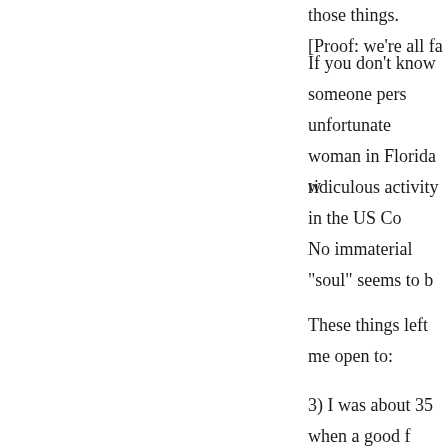those things. [Proof: we're all fa
If you don't know someone pers
unfortunate woman in Florida w
ridiculous activity in the US Co
No immaterial "soul" seems to b
These things left me open to:
3) I was about 35 when a good f stricken with a terminal disease. dinner, discussing a novel he ha subject of the novel is immortal conversation wandered to death calm acceptance of his belief tha you no longer exist; while he ha remaining time, helped me acce as he. Scott quoted the 26th qua of Omar Khayyam: